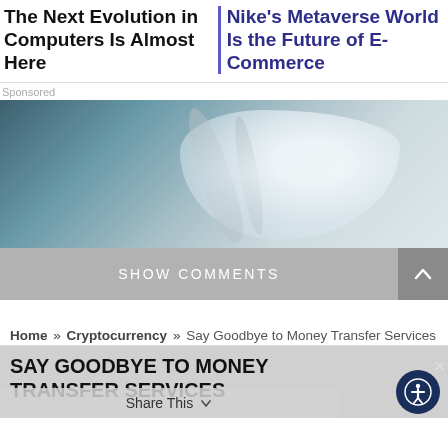The Next Evolution in Computers Is Almost Here
Nike's Metaverse World Is the Future of E-Commerce
Sponsored
[Figure (photo): Sponsored advertisement image showing a metallic/silver object on a dark blue-grey textured background]
SHOW COMMENTS
Home » Cryptocurrency » Say Goodbye to Money Transfer Services
SAY GOODBYE TO MONEY TRANSFER SERVICES
Share This